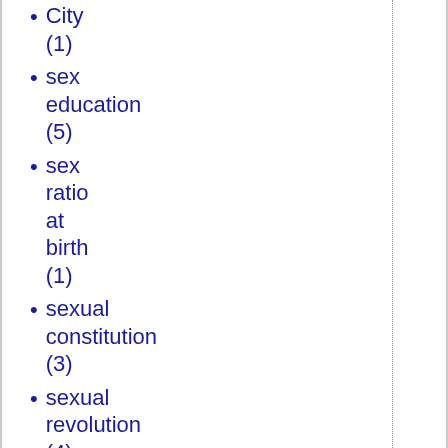City (1)
sex education (5)
sex ratio at birth (1)
sexual constitution (3)
sexual revolution (4)
Sexual Revolution (1)
Sexuality (3)
sexuality (3)
shadow banking